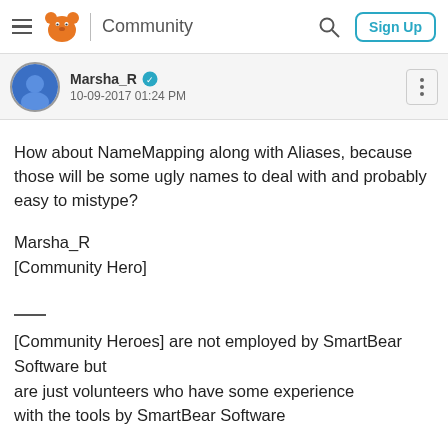Community | Sign Up
Marsha_R
10-09-2017 01:24 PM
How about NameMapping along with Aliases, because those will be some ugly names to deal with and probably easy to mistype?
Marsha_R
[Community Hero]

____
[Community Heroes] are not employed by SmartBear Software but are just volunteers who have some experience with the tools by SmartBear Software